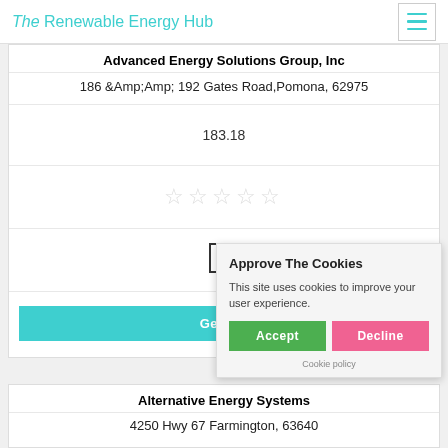The Renewable Energy Hub
Advanced Energy Solutions Group, Inc
186 &Amp;Amp; 192 Gates Road, Pomona, 62975
183.18
[Figure (other): Five empty star rating icons]
[Figure (other): Empty checkbox square]
Get a Quote
Approve The Cookies
This site uses cookies to improve your user experience.
Accept  Decline
Cookie policy
Alternative Energy Systems
4250 Hwy 67 Farmington, 63640